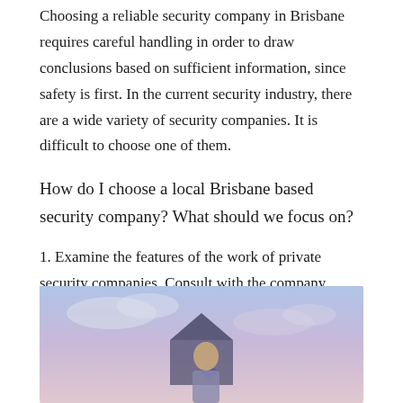Choosing a reliable security company in Brisbane requires careful handling in order to draw conclusions based on sufficient information, since safety is first. In the current security industry, there are a wide variety of security companies. It is difficult to choose one of them.
How do I choose a local Brisbane based security company? What should we focus on?
1. Examine the features of the work of private security companies. Consult with the company about the following:
[Figure (photo): A security guard or person standing outdoors against a light blue and pink sky background, with what appears to be a building or house structure visible behind them.]